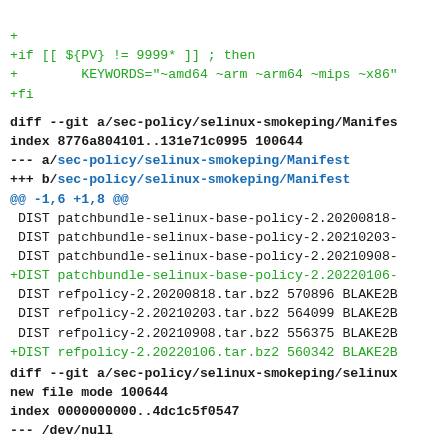+ 
+if [[ ${PV} != 9999* ]] ; then
+        KEYWORDS="~amd64 ~arm ~arm64 ~mips ~x86"
+fi
diff --git a/sec-policy/selinux-smokeping/Manifest
index 8776a804101..131e71c0995 100644
--- a/sec-policy/selinux-smokeping/Manifest
+++ b/sec-policy/selinux-smokeping/Manifest
@@ -1,6 +1,8 @@
 DIST patchbundle-selinux-base-policy-2.20200818-
 DIST patchbundle-selinux-base-policy-2.20210203-
 DIST patchbundle-selinux-base-policy-2.20210908-
+DIST patchbundle-selinux-base-policy-2.20220106-
 DIST refpolicy-2.20200818.tar.bz2 570896 BLAKE2B
 DIST refpolicy-2.20210203.tar.bz2 564099 BLAKE2B
 DIST refpolicy-2.20210908.tar.bz2 556375 BLAKE2B
+DIST refpolicy-2.20220106.tar.bz2 560342 BLAKE2B
diff --git a/sec-policy/selinux-smokeping/selinux
new file mode 100644
index 0000000000..4dc1c5f0547
--- /dev/null